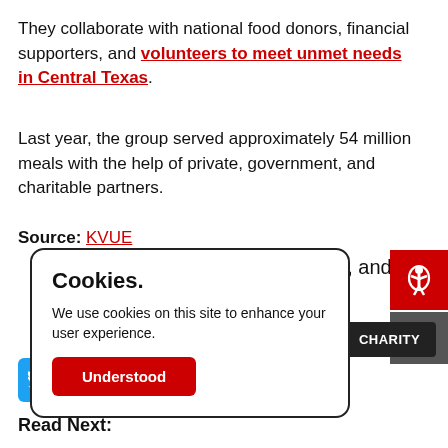They collaborate with national food donors, financial supporters, and volunteers to meet unmet needs in Central Texas.
Last year, the group served approximately 54 million meals with the help of private, government, and charitable partners.
Source: KVUE
kedIn, and
Cookies. We use cookies on this site to enhance your user experience.
WILLIAMSON COUNTY
K   CHARITY
Read Next: